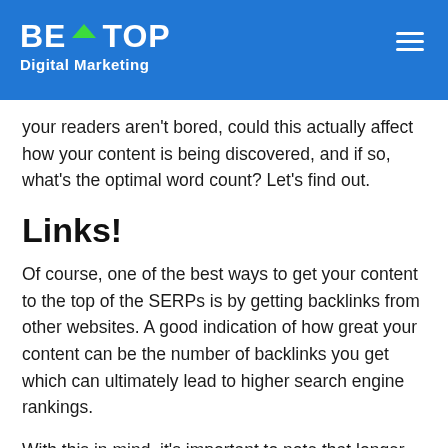BE ON TOP Digital Marketing
your readers aren't bored, could this actually affect how your content is being discovered, and if so, what's the optimal word count? Let's find out.
Links!
Of course, one of the best ways to get your content to the top of the SERPs is by getting backlinks from other websites. A good indication of how great your content can be the number of backlinks you get which can ultimately lead to higher search engine rankings.
With this in mind, it's important to note that longer content tends to get more backlinks in general. This is because the content is generally regarded as more informative and is explained in more detail, hence why it gets more backlinks. Writing for the sake of increasing word count is not a great